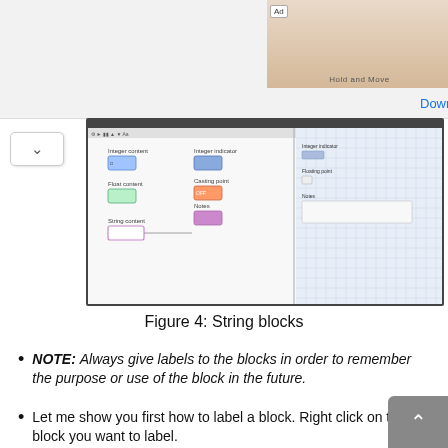[Figure (screenshot): Ad banner with a mobile game (Hold and Move) and Follic app icon with Download button]
[Figure (screenshot): Screenshot of a visual programming environment showing string blocks including Integer content, Float content, String content panels and a preview pane on the right with a dot-grid background]
Figure 4: String blocks
NOTE: Always give labels to the blocks in order to remember the purpose or use of the block in the future.
Let me show you first how to label a block. Right click on the block you want to label.